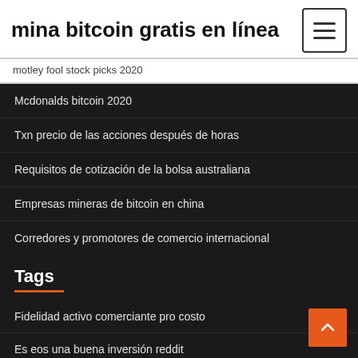mina bitcoin gratis en línea
motley fool stock picks 2020
Mcdonalds bitcoin 2020
Txn precio de las acciones después de horas
Requisitos de cotización de la bolsa australiana
Empresas mineras de bitcoin en china
Corredores y promotores de comercio internacional
Tags
Fidelidad activo comerciante pro costo
Es eos una buena inversión reddit
Las diez principales compañías de inversión en canadá